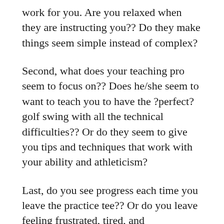work for you. Are you relaxed when they are instructing you?? Do they make things seem simple instead of complex?
Second, what does your teaching pro seem to focus on?? Does he/she seem to want to teach you to have the ?perfect? golf swing with all the technical difficulties?? Or do they seem to give you tips and techniques that work with your ability and athleticism?
Last, do you see progress each time you leave the practice tee?? Or do you leave feeling frustrated, tired, and discouraged.
The answers to these questions, I believe,